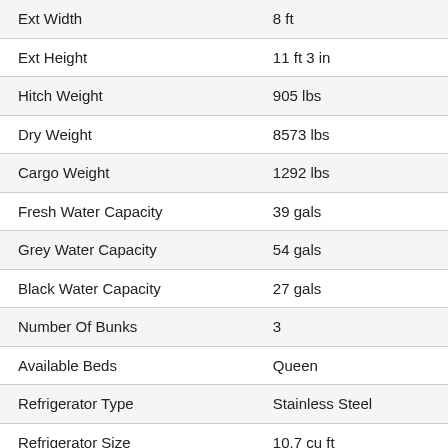| Specification | Value |
| --- | --- |
| Ext Width | 8 ft |
| Ext Height | 11 ft 3 in |
| Hitch Weight | 905 lbs |
| Dry Weight | 8573 lbs |
| Cargo Weight | 1292 lbs |
| Fresh Water Capacity | 39 gals |
| Grey Water Capacity | 54 gals |
| Black Water Capacity | 27 gals |
| Number Of Bunks | 3 |
| Available Beds | Queen |
| Refrigerator Type | Stainless Steel |
| Refrigerator Size | 10.7 cu ft |
| Cooktop Burners | 3 |
| Number of Awnings | 1 |